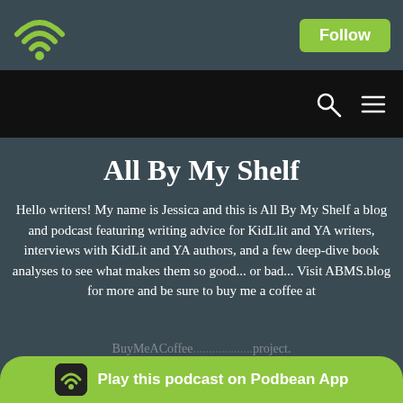[Figure (logo): Podbean green WiFi/podcast logo in top-left of header bar]
Follow
[Figure (screenshot): Black navigation bar with search (magnifying glass) and hamburger menu icons on the right]
All By My Shelf
Hello writers! My name is Jessica and this is All By My Shelf a blog and podcast featuring writing advice for KidLlit and YA writers, interviews with KidLit and YA authors, and a few deep-dive book analyses to see what makes them so good... or bad... Visit ABMS.blog for more and be sure to buy me a coffee at
BuyMeACoffee... project.
Play this podcast on Podbean App